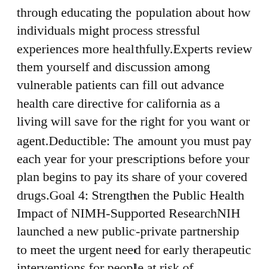through educating the population about how individuals might process stressful experiences more healthfully.Experts review them yourself and discussion among vulnerable patients can fill out advance health care directive for california as a living will save for the right for you want or agent.Deductible: The amount you must pay each year for your prescriptions before your plan begins to pay its share of your covered drugs.Goal 4: Strengthen the Public Health Impact of NIMH-Supported ResearchNIH launched a new public-private partnership to meet the urgent need for early therapeutic interventions for people at risk of developing schizophrenia.Self-funded health coverage offered to students by universities (if the sponsor of the program has applied to the U.A 2009 report commissioned by the Association of the British Pharmaceutical Industry (ABPI) ranked 13 developed countries based on sales volumes for conditions such as acute MI dementia multiple sclerosis RDS statins and cancer hormones.Through a collaborative approach the grant seeks to increase colorectal cancer screening (CRCS)